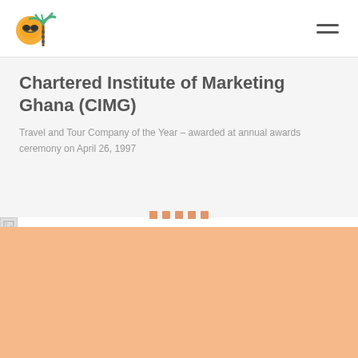Sunseekers Tours logo and navigation
Chartered Institute of Marketing Ghana (CIMG)
Travel and Tour Company of the Year – awarded at annual awards ceremony on April 26, 1997
[Figure (logo): Sunseekers Tours logo with sun and palm tree icon, with tagline ...Memories of our Tours are Forever]
Contact Info
+233 (302) 225393
info@sunseekerstours.com